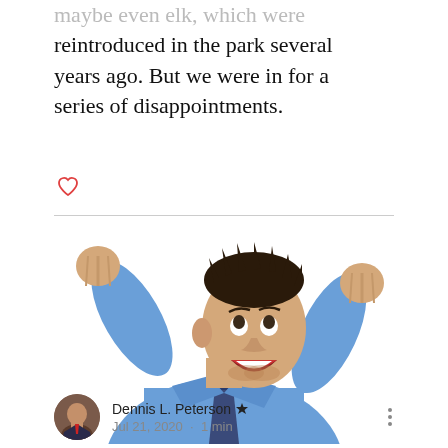maybe even elk, which were reintroduced in the park several years ago. But we were in for a series of disappointments.
[Figure (photo): A man in a blue dress shirt and dark tie celebrating with both fists raised and mouth open in excitement, on a white background.]
Dennis L. Peterson 🔱 Jul 21, 2020 · 1 min